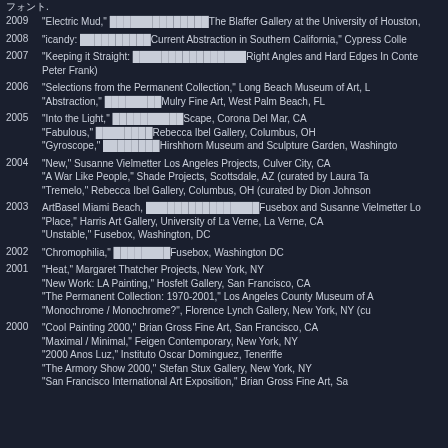フォント.
2009 "Electric Mud," ██████████████The Blaffer Gallery at the University of Houston,
2008 "icandy: ██████████Current Abstraction in Southern California," Cypress Colle
2007 "Keeping it Straight: ████████████████Right Angles and Hard Edges In Contemporary Painting" (curated by Peter Frank)
2006 "Selections from the Permanent Collection," Long Beach Museum of Art, L
"Abstraction," ████████Mulry Fine Art, West Palm Beach, FL
2005 "Into the Light," ██████████Scape, Corona Del Mar, CA
"Fabulous," ████████Rebecca Ibel Gallery, Columbus, OH
"Gyroscope," ████████Hirshhorn Museum and Sculpture Garden, Washingto
2004 "New," Susanne Vielmetter Los Angeles Projects, Culver City, CA
"A War Like People," Shade Projects, Scottsdale, AZ (curated by Laura Ta
"Tremelo," Rebecca Ibel Gallery, Columbus, OH (curated by Dion Johnson
2003 ArtBasel Miami Beach, ███████████████Fusebox and Susanne Vielmetter Lo
"Place," Harris Art Gallery, University of La Verne, La Verne, CA
"Unstable," Fusebox, Washington, DC
2002 "Chromophilia," ████████Fusebox, Washington DC
2001 "Heat," Margaret Thatcher Projects, New York, NY
"New Work: LA Painting," Hosfelt Gallery, San Francisco, CA
"The Permanent Collection: 1970-2001," Los Angeles County Museum of A
"Monochrome / Monochrome?", Florence Lynch Gallery, New York, NY (cu
2000 "Cool Painting 2000," Brian Gross Fine Art, San Francisco, CA
"Maximal / Minimal," Feigen Contemporary, New York, NY
"2000 Anos Luz," Instituto Oscar Dominguez, Teneriffe
"The Armory Show 2000," Stefan Stux Gallery, New York, NY
"San Francisco International Art Exposition," Brian Gross Fine Art, Sa